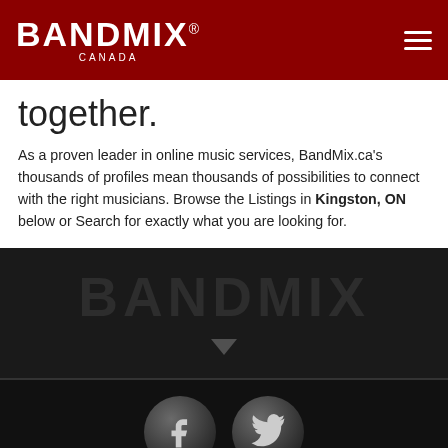BANDMIX® CANADA
together.
As a proven leader in online music services, BandMix.ca's thousands of profiles mean thousands of possibilities to connect with the right musicians. Browse the Listings in Kingston, ON below or Search for exactly what you are looking for.
[Figure (logo): BANDMIX watermark text in dark gray on dark background with a downward arrow below]
[Figure (infographic): Two circular social media buttons: Facebook (f) and Twitter (t) in dark gray on black background]
Copyright © 2022 BandMix.ca™. All rights reserved.